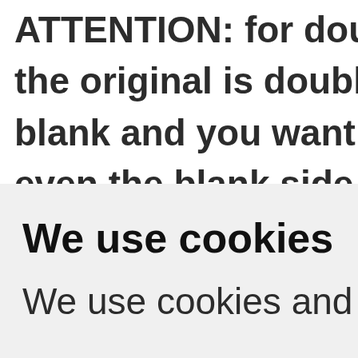ATTENTION: for doub the original is double blank and you want a even the blank side i
We use cookies
We use cookies and other tracking...